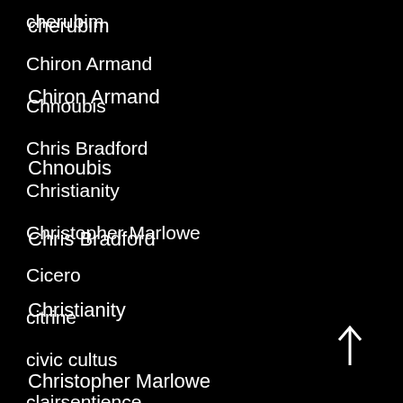cherubim
Chiron Armand
Chnoubis
Chris Bradford
Christianity
Christopher Marlowe
Cicero
citrine
civic cultus
clairsentience
Clavis Inferni
cleansing